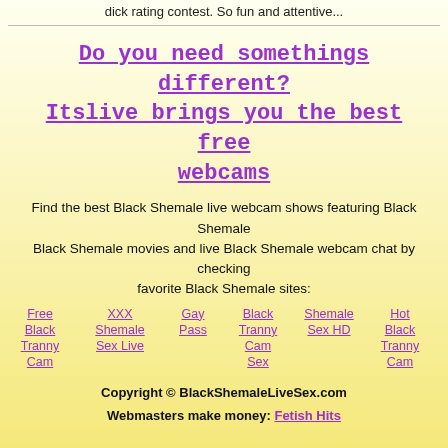dick rating contest. So fun and attentive...
Do you need somethings different? Itslive brings you the best free webcams
Find the best Black Shemale live webcam shows featuring Black Shemale Black Shemale movies and live Black Shemale webcam chat by checking favorite Black Shemale sites:
Free Black Tranny Cam
XXX Shemale Sex Live
Gay Pass
Black Tranny Cam Sex
Shemale Sex HD
Hot Black Tranny Cam
BBW Video
Copyright © BlackShemaleLiveSex.com
Webmasters make money: Fetish Hits